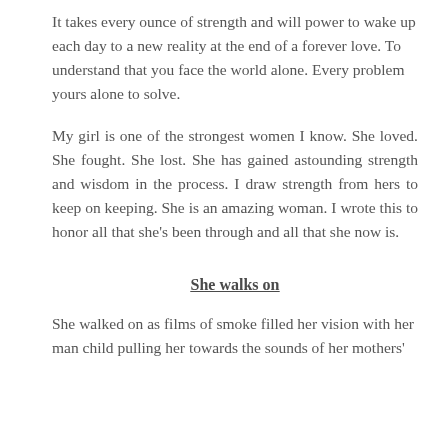It takes every ounce of strength and will power to wake up each day to a new reality at the end of a forever love. To understand that you face the world alone. Every problem yours alone to solve.
My girl is one of the strongest women I know. She loved. She fought. She lost. She has gained astounding strength and wisdom in the process. I draw strength from hers to keep on keeping. She is an amazing woman. I wrote this to honor all that she's been through and all that she now is.
She walks on
She walked on as films of smoke filled her vision with her man child pulling her towards the sounds of her mothers'